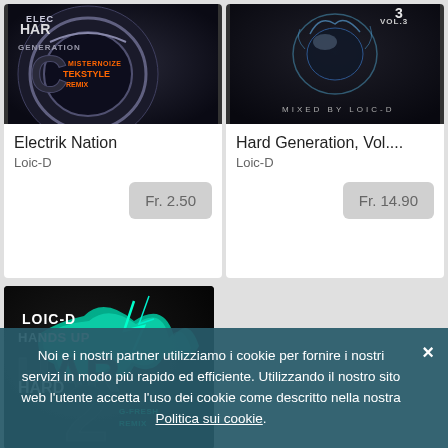[Figure (photo): Album cover for Electrik Nation by Loic-D, dark metallic chrome design with text ELECTRIK HARD GENERATION MISTERNOIZE TEKSTYLE REMIX]
Electrik Nation
Loic-D
Fr. 2.50
[Figure (photo): Album cover for Hard Generation Vol... by Loic-D, dark design with glass/water effect and text MIXED BY LOIC-D VOL 3]
Hard Generation, Vol....
Loic-D
Fr. 14.90
[Figure (photo): Album cover showing LOIC-D HANDS UP HARD G-FRESH REMIX with teal/cyan splash effect on dark background]
Noi e i nostri partner utilizziamo i cookie per fornire i nostri servizi in modo più rapido ed efficiente. Utilizzando il nostro sito web l'utente accetta l'uso dei cookie come descritto nella nostra Politica sui cookie.